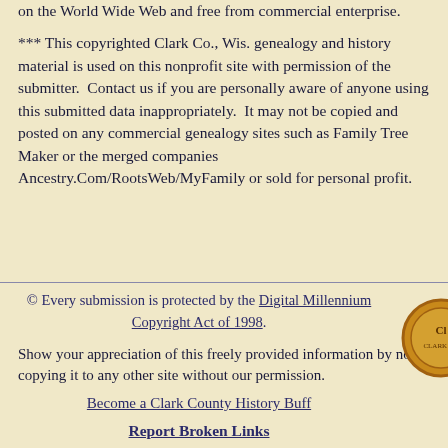on the World Wide Web and free from commercial enterprise.
*** This copyrighted Clark Co., Wis. genealogy and history material is used on this nonprofit site with permission of the submitter.  Contact us if you are personally aware of anyone using this submitted data inappropriately.  It may not be copied and posted on any commercial genealogy sites such as Family Tree Maker or the merged companies Ancestry.Com/RootsWeb/MyFamily or sold for personal profit.
© Every submission is protected by the Digital Millennium Copyright Act of 1998.
Show your appreciation of this freely provided information by not copying it to any other site without our permission.
Become a Clark County History Buff
Report Broken Links
[Figure (logo): Clark County circular seal/emblem, partially visible at bottom right]